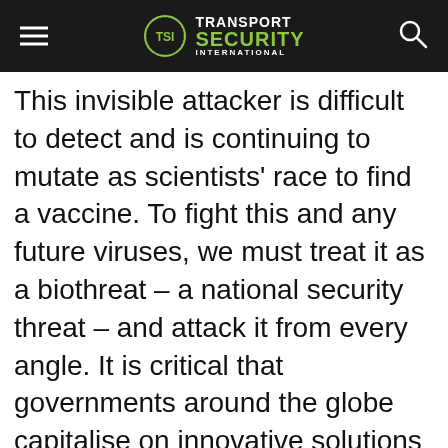Transport Security International
This invisible attacker is difficult to detect and is continuing to mutate as scientists' race to find a vaccine. To fight this and any future viruses, we must treat it as a biothreat – a national security threat – and attack it from every angle. It is critical that governments around the globe capitalise on innovative solutions to find the virus and eliminate it. Funding is needed to make sure every city, school, hospital, military base, grocery store, restaurant, airport, mall, or commercial enterprise can detect the presence of the virus. The inability to detect the virus will keep global citizens at home and employees